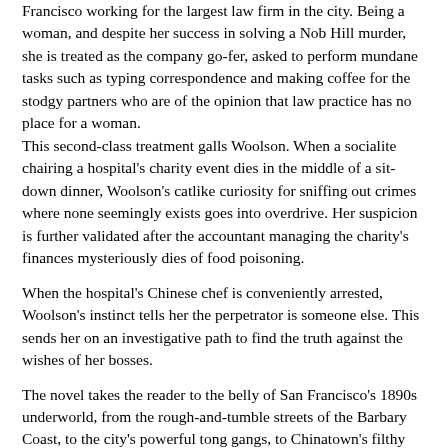Francisco working for the largest law firm in the city. Being a woman, and despite her success in solving a Nob Hill murder, she is treated as the company go-fer, asked to perform mundane tasks such as typing correspondence and making coffee for the stodgy partners who are of the opinion that law practice has no place for a woman.
This second-class treatment galls Woolson. When a socialite chairing a hospital's charity event dies in the middle of a sit-down dinner, Woolson's catlike curiosity for sniffing out crimes where none seemingly exists goes into overdrive. Her suspicion is further validated after the accountant managing the charity's finances mysteriously dies of food poisoning.
When the hospital's Chinese chef is conveniently arrested, Woolson's instinct tells her the perpetrator is someone else. This sends her on an investigative path to find the truth against the wishes of her bosses.
The novel takes the reader to the belly of San Francisco's 1890s underworld, from the rough-and-tumble streets of the Barbary Coast, to the city's powerful tong gangs, to Chinatown's filthy sweatshops, contrasting it with the city's